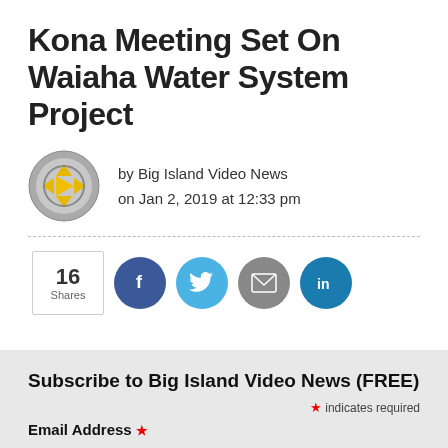Kona Meeting Set On Waiaha Water System Project
by Big Island Video News
on Jan 2, 2019 at 12:33 pm
[Figure (logo): Big Island Video News logo: grey circle with yellow arrow/play button shape]
16 Shares
[Figure (infographic): Social share buttons: Facebook (blue circle with f), Twitter (light blue circle with bird), Email (grey circle with envelope), LinkedIn (teal circle with in)]
Subscribe to Big Island Video News (FREE)
* indicates required
Email Address *